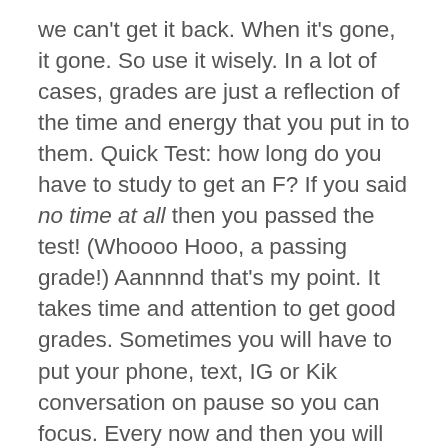we can't get it back. When it's gone, it gone. So use it wisely. In a lot of cases, grades are just a reflection of the time and energy that you put in to them. Quick Test: how long do you have to study to get an F? If you said no time at all then you passed the test! (Whoooo Hooo, a passing grade!) Aannnnd that's my point. It takes time and attention to get good grades. Sometimes you will have to put your phone, text, IG or Kik conversation on pause so you can focus. Every now and then you will have to choose not to go hang out . You will have to turn the TV or music off. You might even have to stay after school (by choice??... ouch!), to get some extra help from a teacher. When friends say come hang out with us, remember this: You have to live with these grades, not them. These